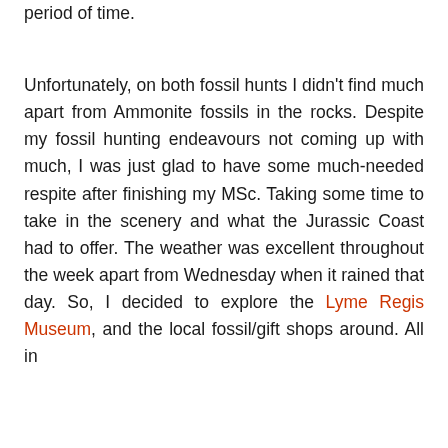period of time.
Unfortunately, on both fossil hunts I didn't find much apart from Ammonite fossils in the rocks. Despite my fossil hunting endeavours not coming up with much, I was just glad to have some much-needed respite after finishing my MSc. Taking some time to take in the scenery and what the Jurassic Coast had to offer. The weather was excellent throughout the week apart from Wednesday when it rained that day. So, I decided to explore the Lyme Regis Museum, and the local fossil/gift shops around. All in